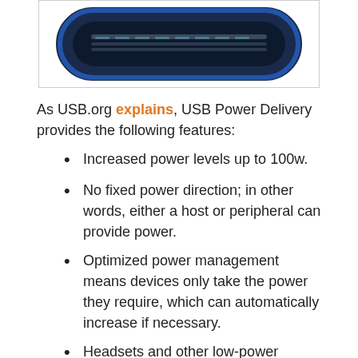[Figure (photo): Close-up photo of a USB Type-C connector port, dark blue oval shape with internal pins visible, against a white background inside a bordered box.]
As USB.org explains, USB Power Delivery provides the following features:
Increased power levels up to 100w.
No fixed power direction; in other words, either a host or peripheral can provide power.
Optimized power management means devices only take the power they require, which can automatically increase if necessary.
Headsets and other low-power devices can negotiate for only the power they require.
Although dongles can connect new and old connectors, the speed and power will drop down to the lowest common denominator. For example, a USB4 device can't